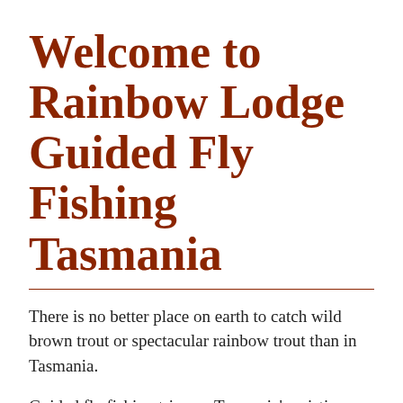Welcome to Rainbow Lodge Guided Fly Fishing Tasmania
There is no better place on earth to catch wild brown trout or spectacular rainbow trout than in Tasmania.
Guided fly fishing trips on Tasmania's pristine lakes and rivers are our specialty. Whether polaroiding the